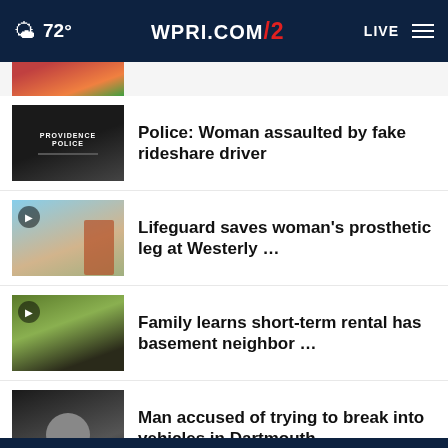WPRI.COM 12 | 72° | LIVE
[Figure (photo): Partial thumbnail of a news story image (partially visible, cropped at top)]
[Figure (photo): Providence Police car with PROVIDENCE and POLICE text visible on door]
Police: Woman assaulted by fake rideshare driver
[Figure (photo): Beach scene with a person, video play icon overlay]
Lifeguard saves woman's prosthetic leg at Westerly …
[Figure (photo): Interview scene with a man, video play icon overlay]
Family learns short-term rental has basement neighbor …
[Figure (photo): Mugshot of a bald man with glasses]
Man accused of trying to break into vehicles in Dartmouth
More Stories ›